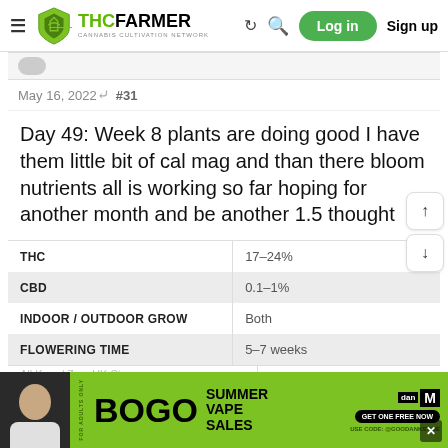THCFarmer — Cannabis Cultivation Network navigation bar with Log in and Sign up
May 16, 2022   #31
Day 49: Week 8 plants are doing good I have them little bit of cal mag and than there bloom nutrients all is working so far hoping for another month and be another 1.5 thought
|  |  |
| --- | --- |
| THC | 17–24% |
| CBD | 0.1–1% |
| INDOOR / OUTDOOR GROW | Both |
| FLOWERING TIME | 5–7 weeks |
[Figure (screenshot): BOGO Summer Vape Sales advertisement banner at bottom of page]